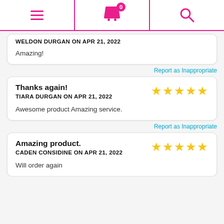Navigation bar with hamburger menu, shopping cart (0 items), and search icon
WELDON DURGAN ON APR 21, 2022
Amazing!
Report as Inappropriate
Thanks again!
TIARA DURGAN ON APR 21, 2022
Awesome product Amazing service.
Report as Inappropriate
Amazing product.
CADEN CONSIDINE ON APR 21, 2022
Will order again